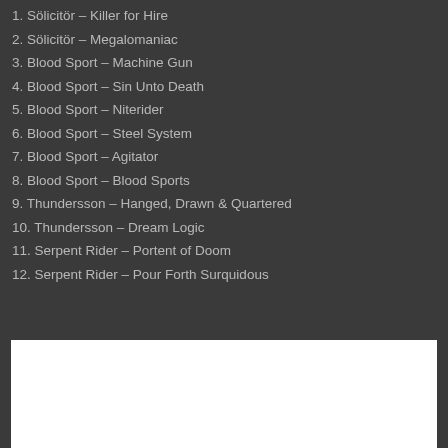1. Sölicitör – Killer for Hire
2. Sölicitör – Megalomaniac
3. Blood Sport – Machine Gun
4. Blood Sport – Sin Unto Death
5. Blood Sport – Niterider
6. Blood Sport – Steel System
7. Blood Sport – Agitator
8. Blood Sport – Blood Sports
9. Thundersson – Hanged, Drawn & Quartered
10. Thundersson – Dream Logic
11. Serpent Rider – Portent of Doom
12. Serpent Rider – Pour Forth Surquidous
[Figure (other): White rectangular box at bottom of page]